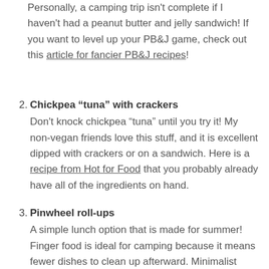Personally, a camping trip isn't complete if I haven't had a peanut butter and jelly sandwich! If you want to level up your PB&J game, check out this article for fancier PB&J recipes!
Chickpea "tuna" with crackers
Don't knock chickpea "tuna" until you try it! My non-vegan friends love this stuff, and it is excellent dipped with crackers or on a sandwich. Here is a recipe from Hot for Food that you probably already have all of the ingredients on hand.
Pinwheel roll-ups
A simple lunch option that is made for summer! Finger food is ideal for camping because it means fewer dishes to clean up afterward. Minimalist Baker has a super tasty recipe for sun-dried